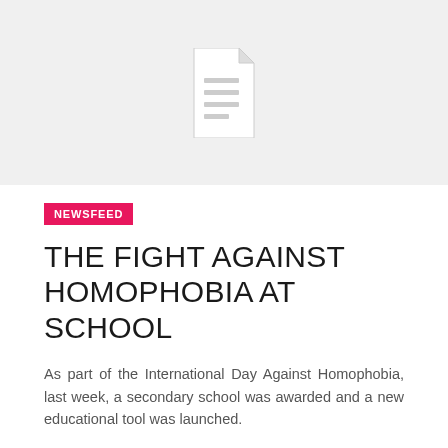[Figure (illustration): Light gray placeholder image area with a white document/file icon centered in the upper portion]
NEWSFEED
THE FIGHT AGAINST HOMOPHOBIA AT SCHOOL
As part of the International Day Against Homophobia, last week, a secondary school was awarded and a new educational tool was launched.
May 23, 2012